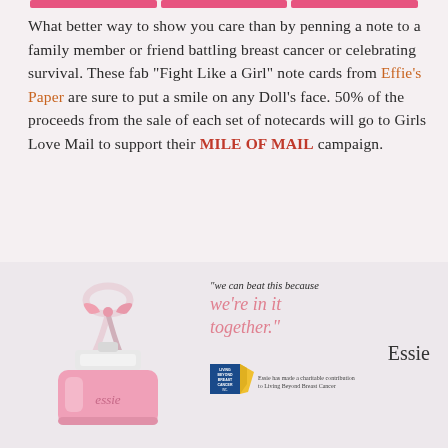What better way to show you care than by penning a note to a family member or friend battling breast cancer or celebrating survival. These fab "Fight Like a Girl" note cards from Effie's Paper are sure to put a smile on any Doll's face. 50% of the proceeds from the sale of each set of notecards will go to Girls Love Mail to support their MILE OF MAIL campaign.
[Figure (illustration): Pink Essie nail polish bottle with a pink ribbon tied around it, alongside a quote 'we can beat this because we're in it together.' signed by Essie, with Living Beyond Breast Cancer logo and text 'Essie has made a charitable contribution to Living Beyond Breast Cancer']